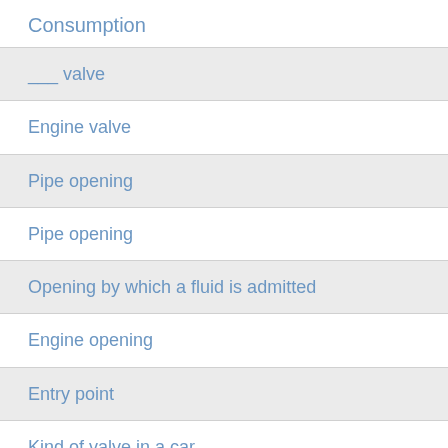Consumption
___ valve
Engine valve
Pipe opening
Pipe opening
Opening by which a fluid is admitted
Engine opening
Entry point
Kind of valve in a car